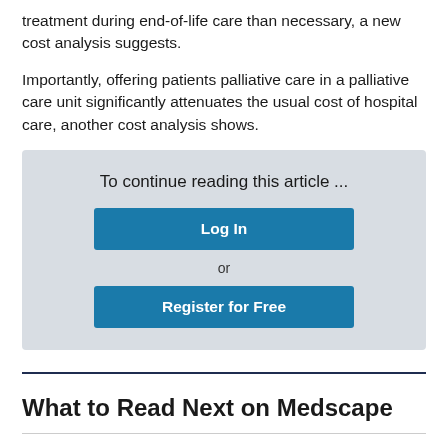treatment during end-of-life care than necessary, a new cost analysis suggests.
Importantly, offering patients palliative care in a palliative care unit significantly attenuates the usual cost of hospital care, another cost analysis shows.
To continue reading this article ...
Log In
or
Register for Free
What to Read Next on Medscape